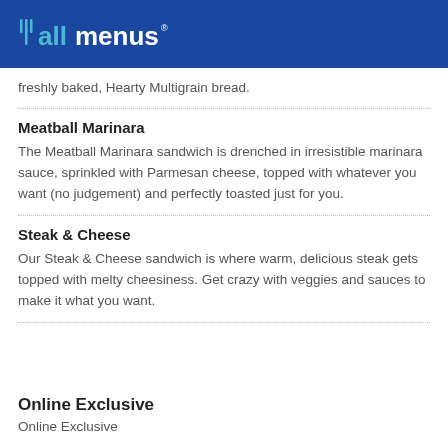allmenus
freshly baked, Hearty Multigrain bread.
Meatball Marinara
The Meatball Marinara sandwich is drenched in irresistible marinara sauce, sprinkled with Parmesan cheese, topped with whatever you want (no judgement) and perfectly toasted just for you.
Steak & Cheese
Our Steak & Cheese sandwich is where warm, delicious steak gets topped with melty cheesiness. Get crazy with veggies and sauces to make it what you want.
Online Exclusive
Online Exclusive